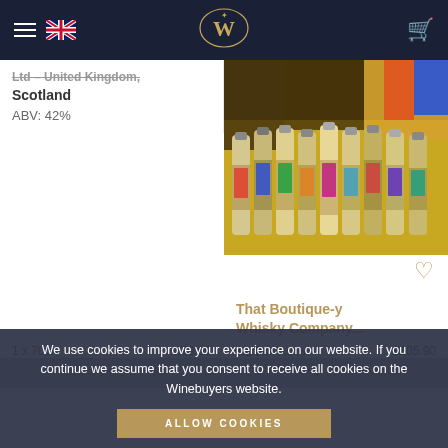Winebuyers website header with menu, UK flag, logo, and cart icon
Ltd – United Kingdom, Scotland
ABV: 42%
[Figure (photo): Collection of miniature whisky bottles from That Boutique-y Whisky Company arranged in a row against a yellow/poster background]
That Boutique-y Whisky Company...
ABV: 47.9%
1 x 70cl    £70.00
1 x 5cl    £105.90
ADD TO CART    ADD TO CART
We use cookies to improve your experience on our website. If you continue we assume that you consent to receive all cookies on the Winebuyers website.
ALLOW COOKIES